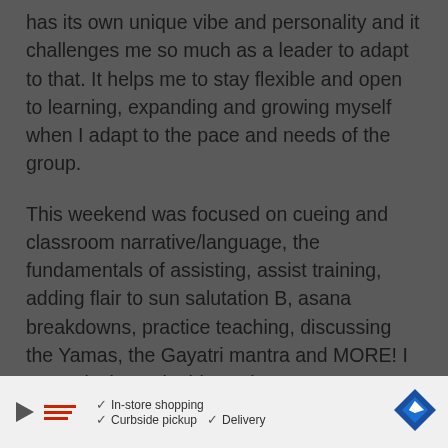has its own unique vibe and personality and it challenges me so much as a leader to adapt to that. It helps me to stay flexible and open to learning, expanding and growing myself when I adapt to the pace and needs of the group.
This weekend was focused on cueing and classroom narrative/language, the fundamentals of assisting, assist training, adding flair to sun salutation B, asana breakdowns, practice teaching, discussing the Yamas, the Gayatri mantra and MORE! I am so lucky to do this work.
[Figure (infographic): Advertisement banner with play icon, red bar chart, checkmarks for In-store shopping, Curbside pickup, Delivery, and a navigation/directions diamond icon]